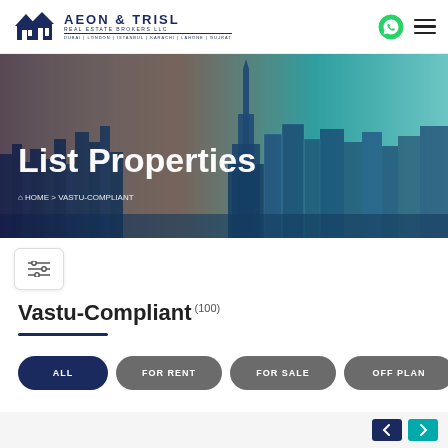AEON & TRISL REAL ESTATE BROKERS LLC | DUBAI | LONDON | ISTANBUL | KARACHI | LAHORE | GUJRAT
[Figure (screenshot): Hero banner with Dubai skyline cityscape showing skyscrapers including Burj Khalifa, with teal-to-orange gradient overlay]
List Properties
HOME > VASTU-COMPLIANT
[Figure (other): Filter/sliders icon button]
Vastu-Compliant (100)
ALL   FOR RENT   FOR SALE   OFF PLAN